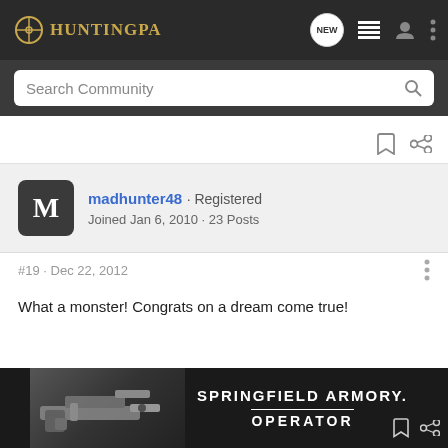HuntingPA
Search Community
madhunter48 · Registered
Joined Jan 6, 2010 · 23 Posts
#19 · Dec 22, 2012
What a monster! Congrats on a dream come true!
[Figure (photo): Springfield Armory Operator advertisement banner showing a firearm with text 'SPRINGFIELD ARMORY. OPERATOR']